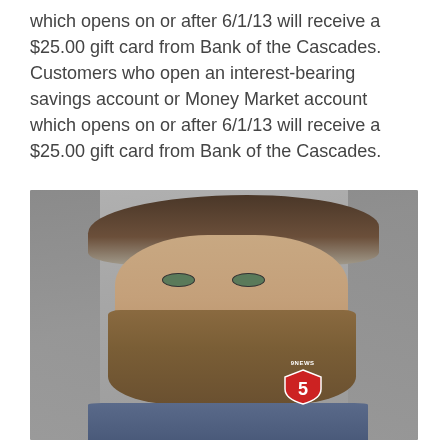which opens on or after 6/1/13 will receive a $25.00 gift card from Bank of the Cascades. Customers who open an interest-bearing savings account or Money Market account which opens on or after 6/1/13 will receive a $25.00 gift card from Bank of the Cascades.
[Figure (photo): Mugshot photo of a young bearded man with brown hair and beard, wearing a blue shirt. A Channel 5 news logo is visible in the lower right corner of the image.]